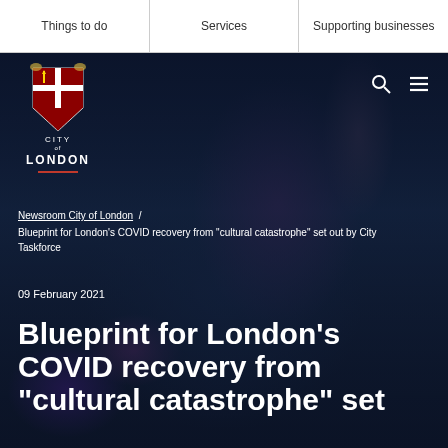Things to do | Services | Supporting businesses
[Figure (logo): City of London Corporation coat of arms logo with shield, supporters, and text CITY OF LONDON below]
Newsroom City of London / Blueprint for London's COVID recovery from "cultural catastrophe" set out by City Taskforce
09 February 2021
Blueprint for London's COVID recovery from "cultural catastrophe" set